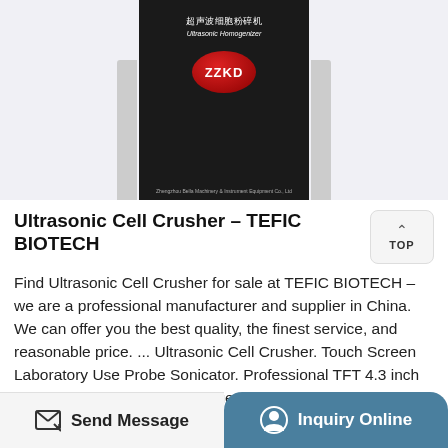[Figure (photo): Ultrasonic Homogenizer / Cell Crusher device with black body, ZZKD red oval logo, and gray side panels on light background]
Ultrasonic Cell Crusher - TEFIC BIOTECH
Find Ultrasonic Cell Crusher for sale at TEFIC BIOTECH - we are a professional manufacturer and supplier in China. We can offer you the best quality, the finest service, and reasonable price. ... Ultrasonic Cell Crusher. Touch Screen Laboratory Use Probe Sonicator. Professional TFT 4.3 inch touch screen ultrasonic homogenizer sonicator
Send Message | Inquiry Online